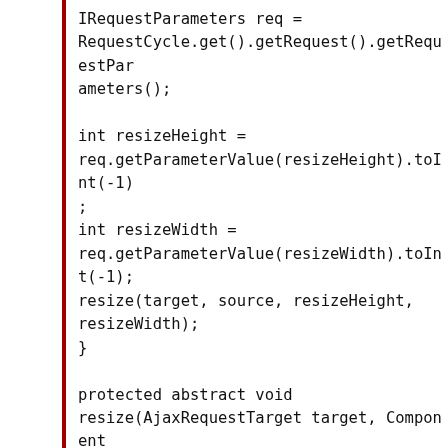IRequestParameters req =
RequestCycle.get().getRequest().getRequestParameters();

int resizeHeight =
req.getParameterValue(resizeHeight).toInt(-1);
int resizeWidth =
req.getParameterValue(resizeWidth).toInt(-1);
resize(target, source, resizeHeight,
resizeWidth);
}

protected abstract void
resize(AjaxRequestTarget target, Component source,
    int resizeHeight, int resizeWidth);
}


public MyResizableBehavior
setStopEvent(MyResizableBehavior.AjaxResizeStopCallback callback){